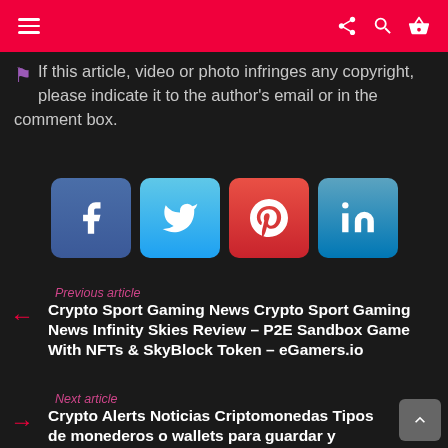Navigation bar with menu, share, search, and cart icons
If this article, video or photo infringes any copyright, please indicate it to the author's email or in the comment box.
[Figure (infographic): Social media share buttons: Facebook, Twitter, Pinterest, LinkedIn]
Previous article
← Crypto Sport Gaming News Crypto Sport Gaming News Infinity Skies Review – P2E Sandbox Game With NFTs & SkyBlock Token – eGamers.io
Next article
→ Crypto Alerts Noticias Criptomonedas Tipos de monederos o wallets para guardar y operar con criptomonedas